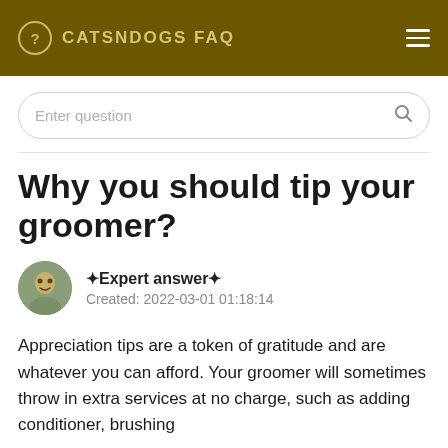CATSNDOGS FAQ
Enter question
Why you should tip your groomer?
✦Expert answer✦
Created: 2022-03-01 01:18:14
Appreciation tips are a token of gratitude and are whatever you can afford. Your groomer will sometimes throw in extra services at no charge, such as adding conditioner, brushing